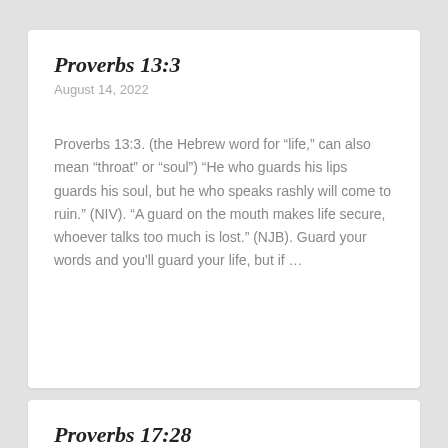Proverbs 13:3
August 14, 2022
Proverbs 13:3. (the Hebrew word for “life,” can also mean “throat” or “soul”) “He who guards his lips guards his soul, but he who speaks rashly will come to ruin.” (NIV). “A guard on the mouth makes life secure, whoever talks too much is lost.” (NJB). Guard your words and you’ll guard your life, but if …
Proverbs 17:28
August 14, 2022